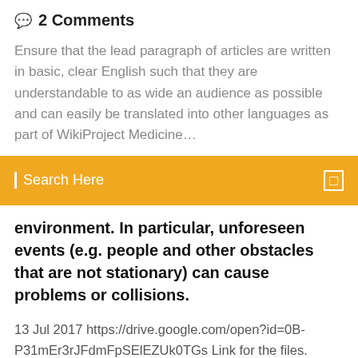💬 2 Comments
Ensure that the lead paragraph of articles are written in basic, clear English such that they are understandable to as wide an audience as possible and can easily be translated into other languages as part of WikiProject Medicine…
Search Here
environment. In particular, unforeseen events (e.g. people and other obstacles that are not stationary) can cause problems or collisions.
13 Jul 2017 https://drive.google.com/open?id=0B-P31mEr3rJFdmFpSElEZUk0TGs Link for the files. Name: Teaching Feeling Version: 2.5.2 Root: No Mod features: Ported to Android Tutorial - [Videotutorial] How to sign up and download on 19 Nov 2019 Free download Teaching Feeling APK file latest english version v2.5 for Android. TeachingFeeling English Patch